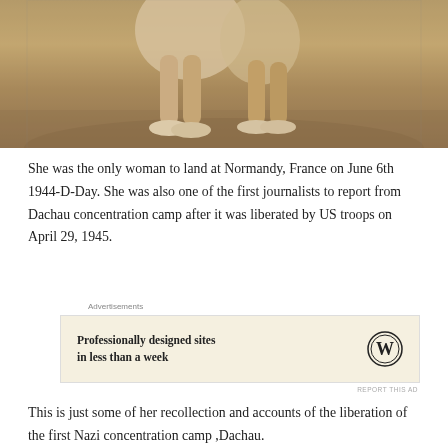[Figure (photo): Sepia-toned historical photograph showing the legs and lower torso of a woman, appearing to be from the World War II era, standing outdoors.]
She was the only woman to land at Normandy, France on June 6th 1944-D-Day. She was also one of the first journalists to report from Dachau concentration camp after it was liberated by US troops on April 29, 1945.
Advertisements
[Figure (screenshot): WordPress advertisement: 'Professionally designed sites in less than a week' with WordPress logo.]
REPORT THIS AD
This is just some of her recollection and accounts of the liberation of the first Nazi concentration camp ,Dachau.